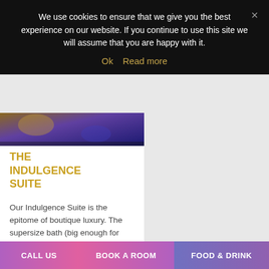We use cookies to ensure that we give you the best experience on our website. If you continue to use this site we will assume that you are happy with it.
Ok   Read more
[Figure (photo): Hotel room image with warm gold and purple lighting]
THE INDULGENCE SUITE
Our Indulgence Suite is the epitome of boutique luxury. The supersize bath (big enough for two), spacious shower enclosure and 40" television screen c... nally f...
CALL US   BOOK A ROOM   FOOD & DRINK